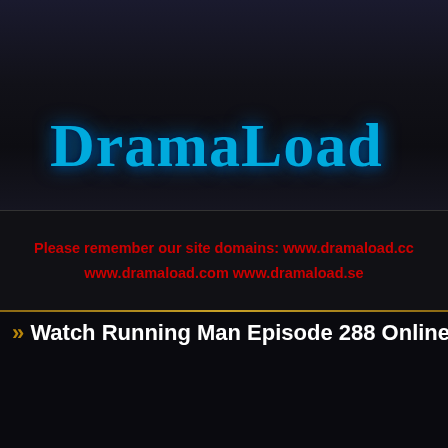DramaLoad
Ho
Please remember our site domains: www.dramaload.cc www.dramaload.com www.dramaload.se
» Watch Running Man Episode 288 Online F
Home > Running Man > Running Man Ep 288 eng sub